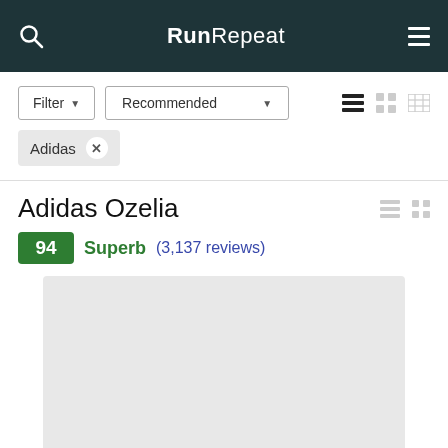RunRepeat
Filter ▾   Recommended ▾
Adidas ×
Adidas Ozelia
94  Superb  (3,137 reviews)
[Figure (photo): Product image placeholder for Adidas Ozelia shoe]